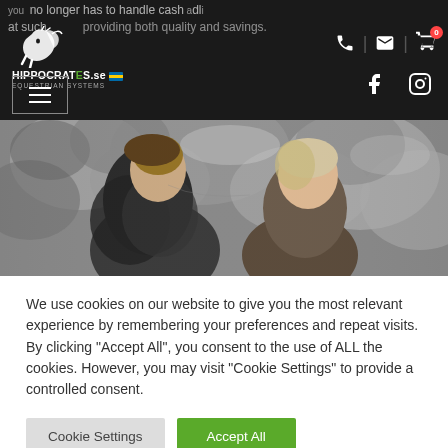you no longer has to handle cash adding... at such... providing both quality and savings.
[Figure (logo): HIPPOCRATES.se Equestrian Systems logo with horse silhouette and Swedish flag]
[Figure (photo): Black and white photo of two people (women) looking at something together outdoors among trees/foliage]
We use cookies on our website to give you the most relevant experience by remembering your preferences and repeat visits. By clicking "Accept All", you consent to the use of ALL the cookies. However, you may visit "Cookie Settings" to provide a controlled consent.
Cookie Settings | Accept All